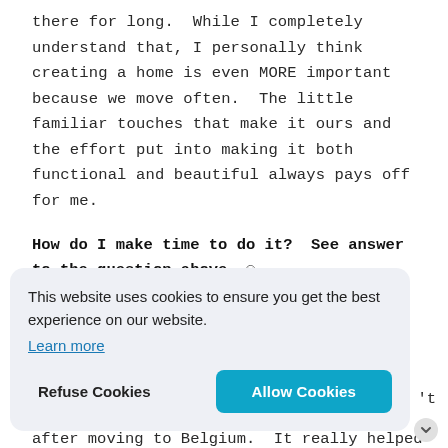there for long.  While I completely understand that, I personally think creating a home is even MORE important because we move often.  The little familiar touches that make it ours and the effort put into making it both functional and beautiful always pays off for me.
How do I make time to do it?  See answer to the question above. ☺
[Figure (screenshot): Cookie consent banner with light blue-gray background, text 'This website uses cookies to ensure you get the best experience on our website.', a 'Learn more' underlined link, a 'Refuse Cookies' text button, and a teal 'Allow Cookies' button.]
after moving to Belgium.  It really helped me to